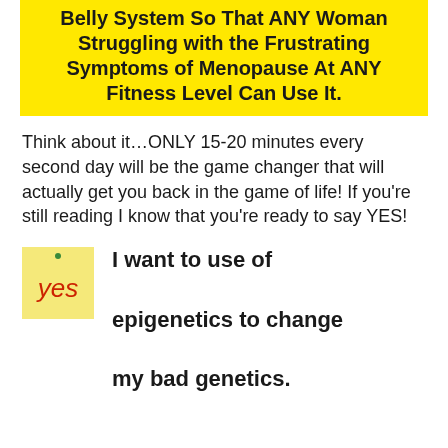Belly System So That ANY Woman Struggling with the Frustrating Symptoms of Menopause At ANY Fitness Level Can Use It.
Think about it…ONLY 15-20 minutes every second day will be the game changer that will actually get you back in the game of life! If you're still reading I know that you're ready to say YES!
I want to use of epigenetics to change my bad genetics.